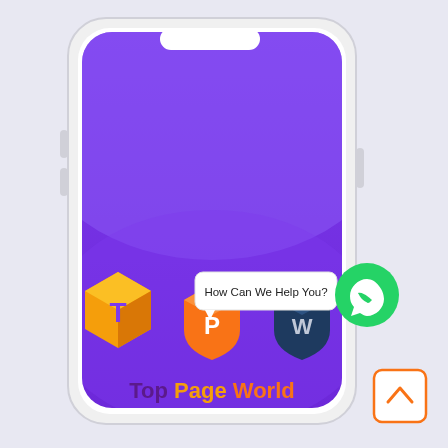[Figure (illustration): A smartphone mockup with a purple gradient background displayed on its screen. The screen shows three app icons (golden T cube, orange P shield, dark blue W shield) and the text 'Top Page World' below them. A WhatsApp chat bubble saying 'How Can We Help You?' appears near the top right of the icons, alongside a green WhatsApp button. A white scroll-up button with an orange border appears at the bottom right.]